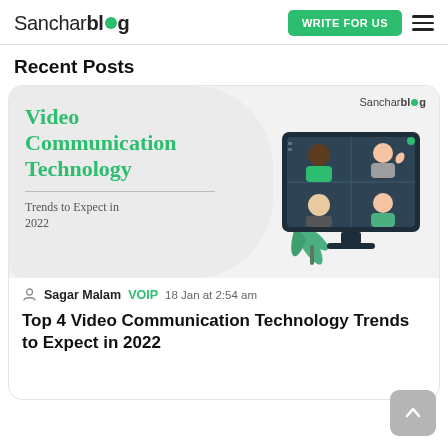Sanchar blog | WRITE FOR US
Recent Posts
[Figure (illustration): Sanchar blog article card banner showing 'Video Communication Technology Trends to Expect in 2022' title on left with gray rounded background, and an illustration of a monitor displaying a video conference with 4 participants on the right]
Sagar Malam VOIP 18 Jan at 2:54 am
Top 4 Video Communication Technology Trends to Expect in 2022